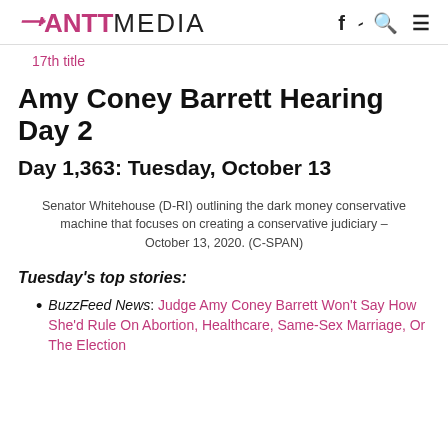RANTT MEDIA
17th title
Amy Coney Barrett Hearing Day 2
Day 1,363: Tuesday, October 13
Senator Whitehouse (D-RI) outlining the dark money conservative machine that focuses on creating a conservative judiciary – October 13, 2020. (C-SPAN)
Tuesday's top stories:
BuzzFeed News: Judge Amy Coney Barrett Won't Say How She'd Rule On Abortion, Healthcare, Same-Sex Marriage, Or The Election